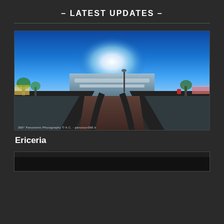– LATEST UPDATES –
[Figure (photo): 360° panoramic photograph of Ericeira coastline showing ocean waves, pathway, trees, and buildings under bright blue sky. Watermark reads: 360° Panoramic Photography © A.C. - panotour360.it]
Ericeira
[Figure (photo): Partially visible second panoramic image at bottom of page, mostly dark/black]